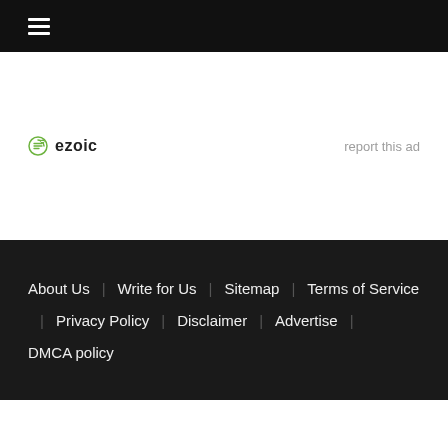☰ (hamburger menu icon)
[Figure (logo): Ezoic logo with green circular icon and 'ezoic' text, alongside 'report this ad' link]
About Us | Write for Us | Sitemap | Terms of Service | Privacy Policy | Disclaimer | Advertise | DMCA policy